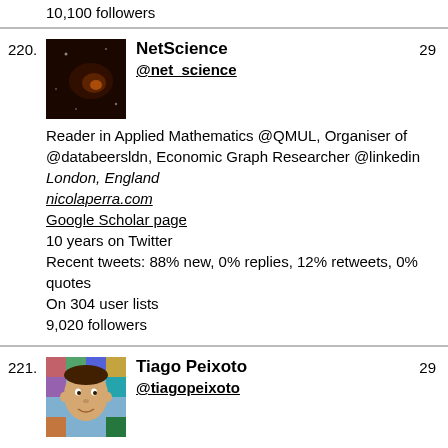10,100 followers
220. NetScience @net_science 29
Reader in Applied Mathematics @QMUL, Organiser of @databeersldn, Economic Graph Researcher @linkedin
London, England
nicolaperra.com
Google Scholar page
10 years on Twitter
Recent tweets: 88% new, 0% replies, 12% retweets, 0% quotes
On 304 user lists
9,020 followers
221. Tiago Peixoto @tiagopeixoto 29
Statistical mechanic, secular Bayesian. Playing with networks, inference, and reconstruction. Associate Professor @dnds_ceu 🎓 https://t.co/gMMpaloz2V
Vienna, Austria
skewed.de/tiago
Google Scholar page
13 years on Twitter